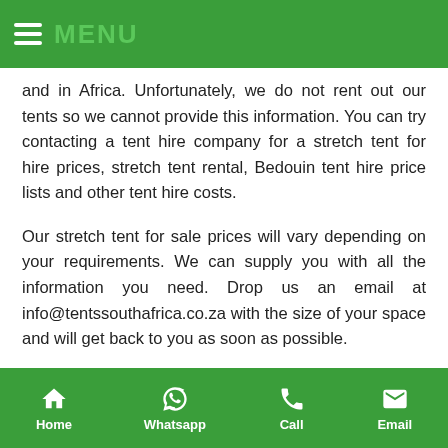MENU
and in Africa. Unfortunately, we do not rent out our tents so we cannot provide this information. You can try contacting a tent hire company for a stretch tent for hire prices, stretch tent rental, Bedouin tent hire price lists and other tent hire costs.
Our stretch tent for sale prices will vary depending on your requirements. We can supply you with all the information you need. Drop us an email at info@tentssouthafrica.co.za with the size of your space and will get back to you as soon as possible.
Buy a High Quality Stretch Tents
Stretch Tents acquired core capability in manufacturing and dealing of high quality fabric and fabricated made-ups
Home  Whatsapp  Call  Email